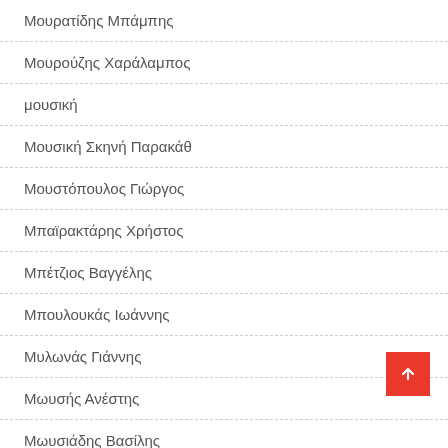Μουρατίδης Μπάμπης
Μουρούζης Χαράλαμπος
μουσική
Μουσική Σκηνή Παρακάθ
Μουστόπουλος Γιώργος
Μπαϊρακτάρης Χρήστος
Μπέτζιος Βαγγέλης
Μπουλουκάς Ιωάννης
Μυλωνάς Γιάννης
Μωυσής Ανέστης
Μωυσιάδης Βασίλης
Νέα Σάντα Κιλκίς
…